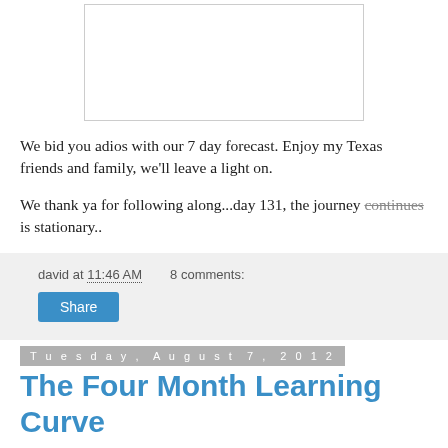[Figure (photo): White rectangle image placeholder at top of page]
We bid you adios with our 7 day forecast. Enjoy my Texas friends and family, we'll leave a light on.
We thank ya for following along...day 131, the journey continues is stationary..
david at 11:46 AM    8 comments:
Share
Tuesday, August 7, 2012
The Four Month Learning Curve
Slow learners-R-Us. We were somewhat of a rare breed as we truly became "RV'ers" and "Full-timers" at the same time, not taking the usual route of starting with a pop-up and